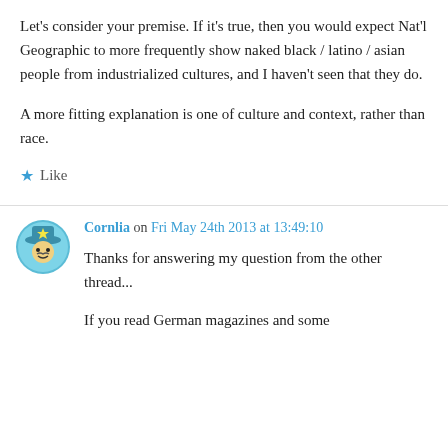Let's consider your premise. If it's true, then you would expect Nat'l Geographic to more frequently show naked black / latino / asian people from industrialized cultures, and I haven't seen that they do.

A more fitting explanation is one of culture and context, rather than race.
★ Like
Cornlia on Fri May 24th 2013 at 13:49:10
Thanks for answering my question from the other thread...

If you read German magazines and some